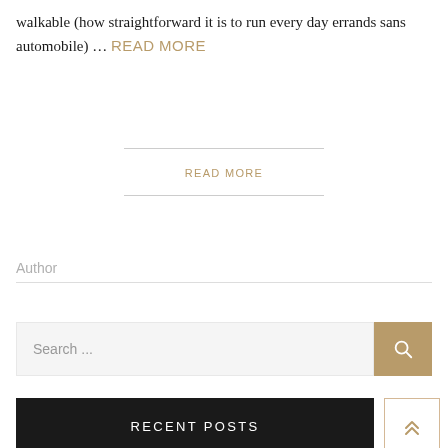walkable (how straightforward it is to run every day errands sans automobile) … READ MORE
READ MORE
Author
Search …
RECENT POSTS